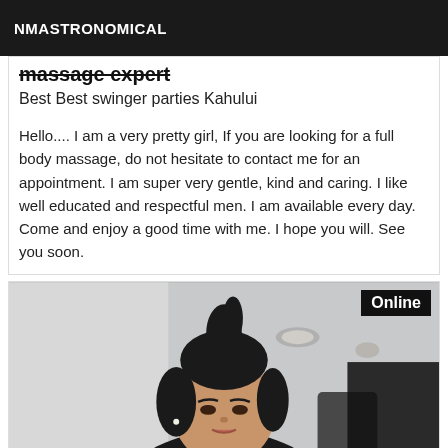NMASTRONOMICAL
massage expert
Best Best swinger parties Kahului
Hello.... I am a very pretty girl, If you are looking for a full body massage, do not hesitate to contact me for an appointment. I am super very gentle, kind and caring. I like well educated and respectful men. I am available every day. Come and enjoy a good time with me. I hope you will. See you soon.
[Figure (photo): Woman with dark hair in a high ponytail, taking a selfie in what appears to be an indoor setting. An 'Online' badge is overlaid in the top right corner.]